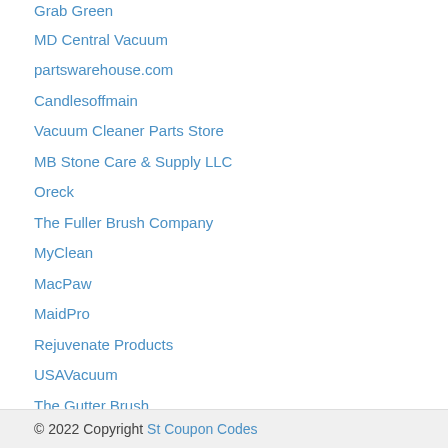Grab Green
MD Central Vacuum
partswarehouse.com
Candlesoffmain
Vacuum Cleaner Parts Store
MB Stone Care & Supply LLC
Oreck
The Fuller Brush Company
MyClean
MacPaw
MaidPro
Rejuvenate Products
USAVacuum
The Gutter Brush
Home Air Check
Bionaire
Biocide Systems
Best Vacuum
© 2022 Copyright St Coupon Codes